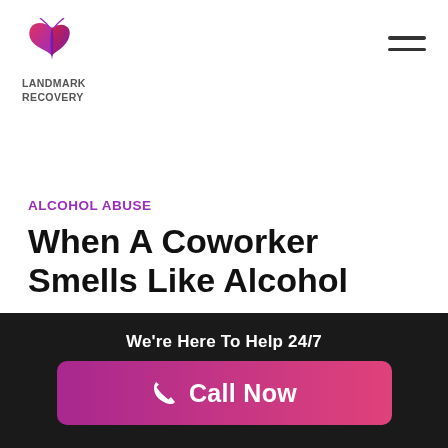[Figure (logo): Landmark Recovery logo with stylized butterfly/flame icon in red/purple gradient, and text LANDMARK RECOVERY below]
ALCOHOL ABUSE
When A Coworker Smells Like Alcohol
By Landmark Recovery on April 11th, 2019
What happens if a coworker arrives at work
We're Here To Help 24/7
Call Now